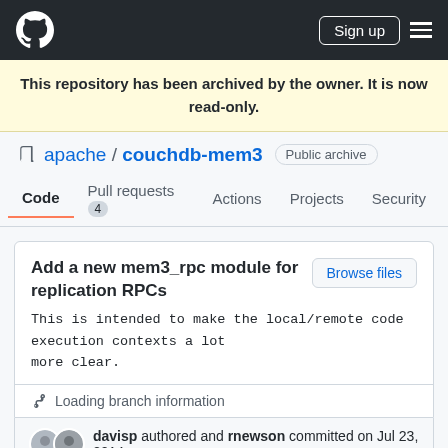GitHub navigation bar with logo, Sign up button, and menu
This repository has been archived by the owner. It is now read-only.
apache / couchdb-mem3  Public archive
Code  Pull requests 4  Actions  Projects  Security
Add a new mem3_rpc module for replication RPCs
This is intended to make the local/remote code execution contexts a lot more clear.
Loading branch information
davisp authored and rnewson committed on Jul 23, 2014
1 parent ade6ab1  commit fcbc821b4f9cd3fa66124860ebce9